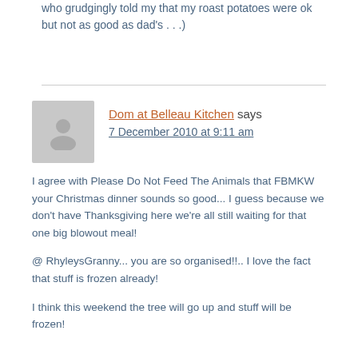who grudgingly told my that my roast potatoes were ok but not as good as dad's . . .)
Dom at Belleau Kitchen says
7 December 2010 at 9:11 am

I agree with Please Do Not Feed The Animals that FBMKW your Christmas dinner sounds so good... I guess because we don't have Thanksgiving here we're all still waiting for that one big blowout meal!

@ RhyleysGranny... you are so organised!!.. I love the fact that stuff is frozen already!

I think this weekend the tree will go up and stuff will be frozen!